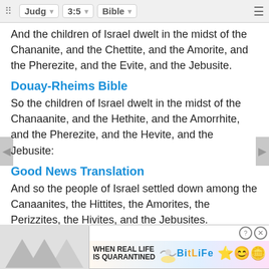Judg | 3:5 | Bible
And the children of Israel dwelt in the midst of the Chananite, and the Chettite, and the Amorite, and the Pherezite, and the Evite, and the Jebusite.
Douay-Rheims Bible
So the children of Israel dwelt in the midst of the Chanaanite, and the Hethite, and the Amorrhite, and the Pherezite, and the Hevite, and the Jebusite:
Good News Translation
And so the people of Israel settled down among the Canaanites, the Hittites, the Amorites, the Perizzites, the Hivites, and the Jebusites.
International Standard Version
The Israelis continued to live among the Canaanites, the Hittites, the Amorites, the Perizzites, the ...
[Figure (screenshot): BitLife advertisement banner: 'WHEN REAL LIFE IS QUARANTINED' with BitLife logo and emoji icons]